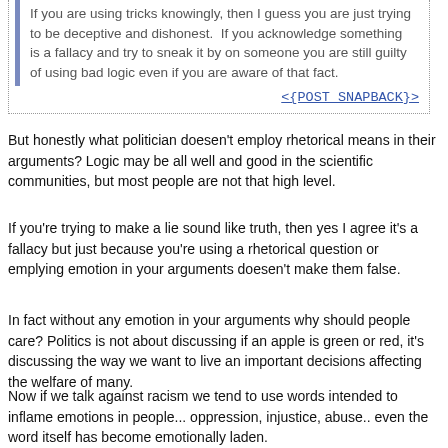If you are using tricks knowingly, then I guess you are just trying to be deceptive and dishonest.  If you acknowledge something is a fallacy and try to sneak it by on someone you are still guilty of using bad logic even if you are aware of that fact.
<{POST_SNAPBACK}>
But honestly what politician doesen't employ rhetorical means in their arguments? Logic may be all well and good in the scientific communities, but most people are not that high level.
If you're trying to make a lie sound like truth, then yes I agree it's a fallacy but just because you're using a rhetorical question or emplying emotion in your arguments doesen't make them false.
In fact without any emotion in your arguments why should people care? Politics is not about discussing if an apple is green or red, it's discussing the way we want to live an important decisions affecting the welfare of many.
Now if we talk against racism we tend to use words intended to inflame emotions in people... oppression, injustice, abuse.. even the word itself has become emotionally laden.
Most of the fallacies in the list I can agree are not something that should be employed in an argument, such as attacking the opponent, his friends etc.